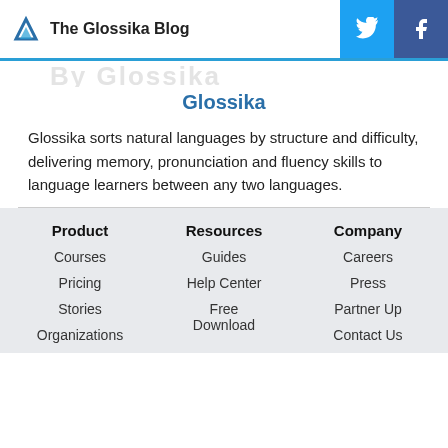The Glossika Blog
Glossika
Glossika sorts natural languages by structure and difficulty, delivering memory, pronunciation and fluency skills to language learners between any two languages.
Product
Resources
Company
Courses
Guides
Careers
Pricing
Help Center
Press
Stories
Free Download
Partner Up
Organizations
Contact Us